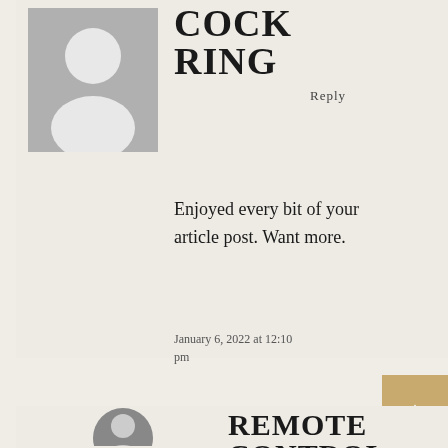[Figure (illustration): Gray avatar silhouette placeholder for user profile picture]
COCK RING
Reply
Enjoyed every bit of your article post. Want more.
January 6, 2022 at 12:10 pm
[Figure (illustration): Tan/gold colored button with arrow icon]
[Figure (illustration): Round avatar/photo of second commenter]
REMOTE CONTROL